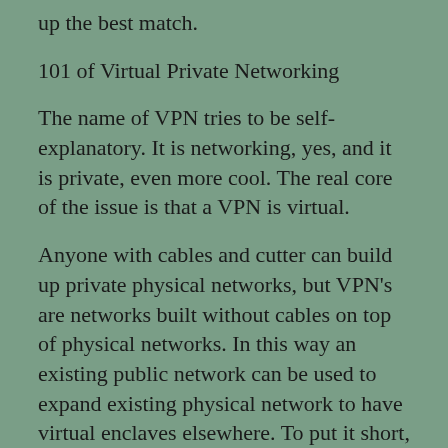up the best match.
101 of Virtual Private Networking
The name of VPN tries to be self-explanatory. It is networking, yes, and it is private, even more cool. The real core of the issue is that a VPN is virtual.
Anyone with cables and cutter can build up private physical networks, but VPN's are networks built without cables on top of physical networks. In this way an existing public network can be used to expand existing physical network to have virtual enclaves elsewhere. To put it short, as example, it is like having the U.S. territory declared to an embassy overseas.
For businesses, using VPN's has been daily routine for years. Businesses might access IT resources on-site, or as belonging to individual or joint VPN's